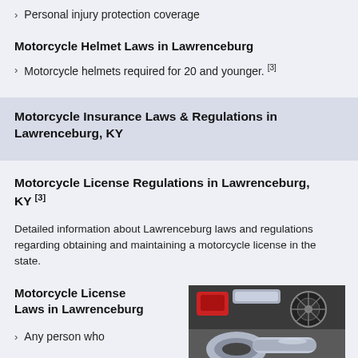Personal injury protection coverage
Motorcycle Helmet Laws in Lawrenceburg
Motorcycle helmets required for 20 and younger. [3]
Motorcycle Insurance Laws & Regulations in Lawrenceburg, KY
Motorcycle License Regulations in Lawrenceburg, KY [3]
Detailed information about Lawrenceburg laws and regulations regarding obtaining and maintaining a motorcycle license in the state.
Motorcycle License Laws in Lawrenceburg
Any person who
[Figure (photo): Close-up photo of a motorcycle exhaust pipe and chrome engine parts]